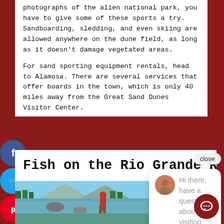photographs of the alien national park, you have to give some of these sports a try. Sandboarding, sledding, and even skiing are allowed anywhere on the dune field, as long as it doesn't damage vegetated areas.
For sand sporting equipment rentals, head to Alamosa. There are several services that offer boards in the town, which is only 40 miles away from the Great Sand Dunes Visitor Center.
Fish on the Rio Grande River
[Figure (photo): Person fly fishing in a river with trees and mountains in the background]
Hi there, have a question about visiting Cool Sunshine RV Park? Text us here.